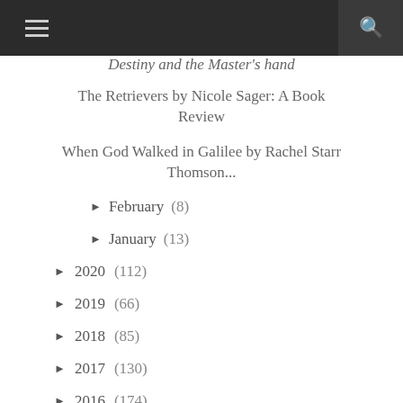≡  🔍
Destiny and the Master's hand
The Retrievers by Nicole Sager: A Book Review
When God Walked in Galilee by Rachel Starr Thomson...
► February (8)
► January (13)
► 2020 (112)
► 2019 (66)
► 2018 (85)
► 2017 (130)
► 2016 (174)
► 2015 (118)
► 2014 (86)